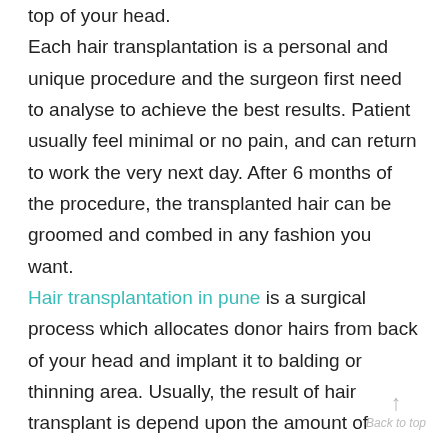top of your head. Each hair transplantation is a personal and unique procedure and the surgeon first need to analyse to achieve the best results. Patient usually feel minimal or no pain, and can return to work the very next day. After 6 months of the procedure, the transplanted hair can be groomed and combed in any fashion you want. Hair transplantation in pune is a surgical process which allocates donor hairs from back of your head and implant it to balding or thinning area. Usually, the result of hair transplant is depend upon the amount of donor hair available. Because, hair transplantation is a method which hairs are simply moving from one area to other.After completing the surgery
Back to top